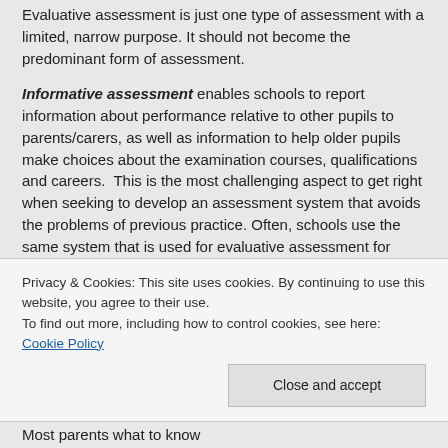Evaluative assessment is just one type of assessment with a limited, narrow purpose. It should not become the predominant form of assessment.
Informative assessment enables schools to report information about performance relative to other pupils to parents/carers, as well as information to help older pupils make choices about the examination courses, qualifications and careers.  This is the most challenging aspect to get right when seeking to develop an assessment system that avoids the problems of previous practice. Often, schools use the same system that is used for evaluative assessment for accountability purposes. But evaluative assessment is most reliable when talking about large groups of pupils, not individuals, so, where schools share standardised scores,
Privacy & Cookies: This site uses cookies. By continuing to use this website, you agree to their use.
To find out more, including how to control cookies, see here: Cookie Policy
Most parents what to know